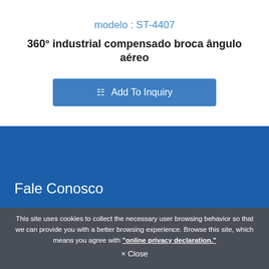modelo : ST-4407
360° industrial compensado broca ângulo aéreo
Add To Inquiry
Fale Conosco
This site uses cookies to collect the necessary user browsing behavior so that we can provide you with a better browsing experience. Browse this site, which means you agree with "online privacy declaration."
× Close